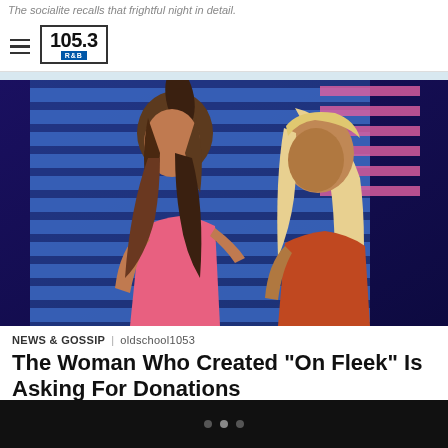The socialite recalls that frightful night in detail.
105.3 RNB
[Figure (photo): Two women posing in a music video scene with blue neon background lighting. Left woman has dark hair in high ponytail wearing pink/coral outfit; right woman has long blonde hair wearing orange outfit.]
NEWS & GOSSIP | oldschool1053
The Woman Who Created “On Fleek” Is Asking For Donations
Does she deserve to be paid cash for her contribution to pop culture?